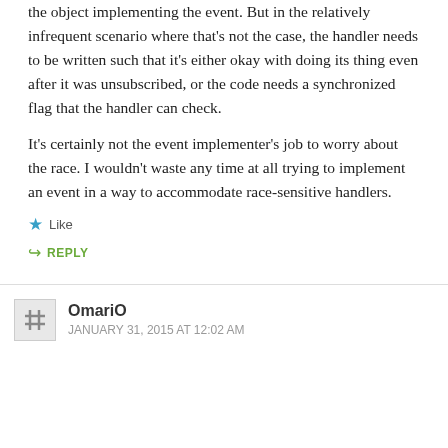the object implementing the event. But in the relatively infrequent scenario where that's not the case, the handler needs to be written such that it's either okay with doing its thing even after it was unsubscribed, or the code needs a synchronized flag that the handler can check.
It's certainly not the event implementer's job to worry about the race. I wouldn't waste any time at all trying to implement an event in a way to accommodate race-sensitive handlers.
★ Like
↪ REPLY
OmariO
JANUARY 31, 2015 AT 12:02 AM